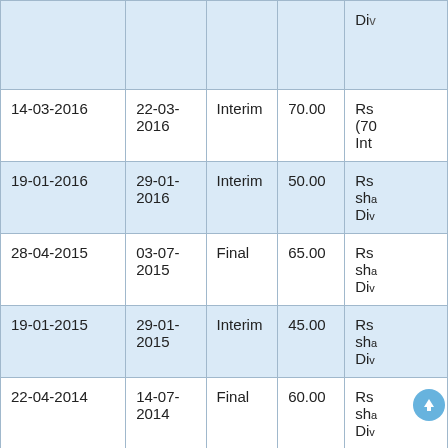| Date | Payment Date | Type | Dividend (Rs.) | Remarks |
| --- | --- | --- | --- | --- |
|  |  |  |  | Div |
| 14-03-2016 | 22-03-2016 | Interim | 70.00 | Rs (70 Int |
| 19-01-2016 | 29-01-2016 | Interim | 50.00 | Rs sha Div |
| 28-04-2015 | 03-07-2015 | Final | 65.00 | Rs sha Div |
| 19-01-2015 | 29-01-2015 | Interim | 45.00 | Rs sha Div |
| 22-04-2014 | 14-07-2014 | Final | 60.00 | Rs sha Div |